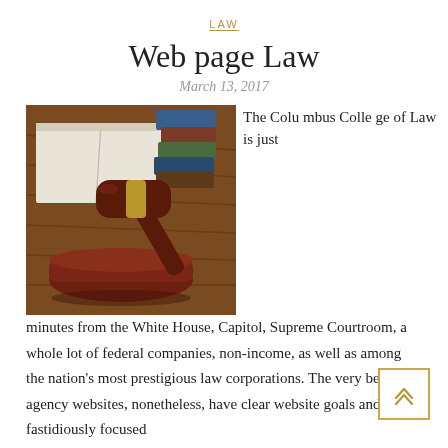LAW
Web page Law
March 13, 2017
[Figure (photo): A judge's wooden gavel and sound block on a wooden surface, with open law books and stacked books in the background.]
The Columbus College of Law is just minutes from the White House, Capitol, Supreme Courtroom, a whole lot of federal companies, non-income, as well as among the nation's most prestigious law corporations. The very best law agency websites, nonetheless, have clear website goals and are fastidiously focused